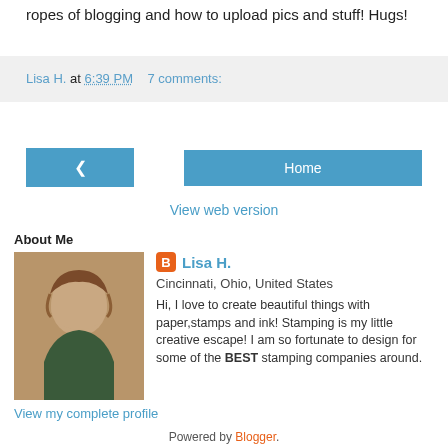ropes of blogging and how to upload pics and stuff! Hugs!
Lisa H. at 6:39 PM   7 comments:
[Figure (other): Navigation buttons: a left arrow back button and a Home button]
View web version
About Me
[Figure (photo): Profile photo of Lisa H., a woman with brown hair]
Lisa H.
Cincinnati, Ohio, United States
Hi, I love to create beautiful things with paper,stamps and ink! Stamping is my little creative escape! I am so fortunate to design for some of the BEST stamping companies around.
View my complete profile
Powered by Blogger.